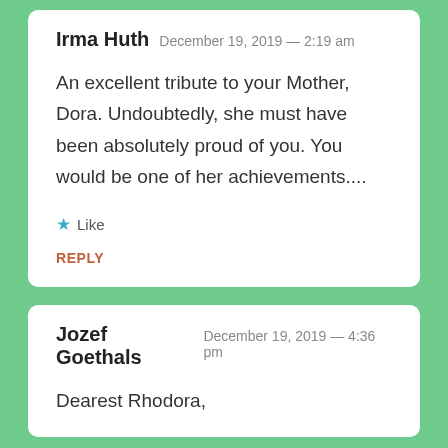Irma Huth — December 19, 2019 — 2:19 am
An excellent tribute to your Mother, Dora. Undoubtedly, she must have been absolutely proud of you. You would be one of her achievements....
★ Like
REPLY
Jozef Goethals — December 19, 2019 — 4:36 pm
Dearest Rhodora,